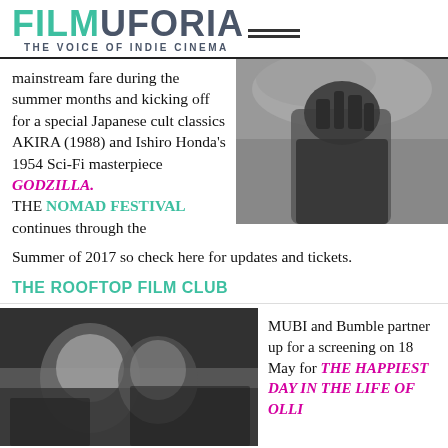FILMUFORIA — THE VOICE OF INDIE CINEMA
mainstream fare during the summer months and kicking off for a special Japanese cult classics AKIRA (1988) and Ishiro Honda's 1954 Sci-Fi masterpiece GODZILLA. THE NOMAD FESTIVAL continues through the Summer of 2017 so check here for updates and tickets.
[Figure (photo): Black and white photograph of Godzilla monster against a cloudy sky]
THE ROOFTOP FILM CLUB
[Figure (photo): Black and white photograph of two people in close conversation, a woman and a man]
MUBI and Bumble partner up for a screening on 18 May for THE HAPPIEST DAY IN THE LIFE OF OLLI